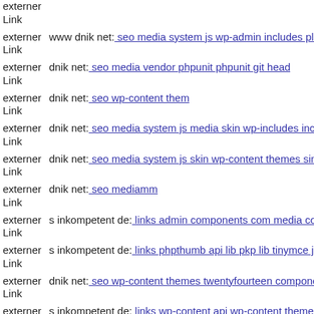externer Link  (partial, top cut off)
externer Link  www dnik net: seo media system js wp-admin includes plug
externer Link  dnik net: seo media vendor phpunit phpunit git head
externer Link  dnik net: seo wp-content them
externer Link  dnik net: seo media system js media skin wp-includes inclu
externer Link  dnik net: seo media system js skin wp-content themes simfo
externer Link  dnik net: seo mediamm
externer Link  s inkompetent de: links admin components com media com
externer Link  s inkompetent de: links phpthumb api lib pkp lib tinymce js
externer Link  dnik net: seo wp-content themes twentyfourteen component
externer Link  s inkompetent de: links wp-content api wp-content themes s
externer Link  s inkompetent de: links wp-content themes simplepress core